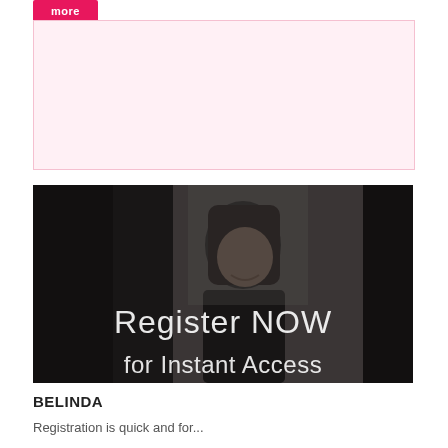[Figure (other): Pink/light rose colored rectangular placeholder box with a small red/pink 'more' button in the top-left corner]
[Figure (photo): Dark photograph of a woman with long dark hair smiling, overlaid with white text 'Register NOW' and partial text 'for Instant Access' at the bottom]
BELINDA
Registration is quick and for...